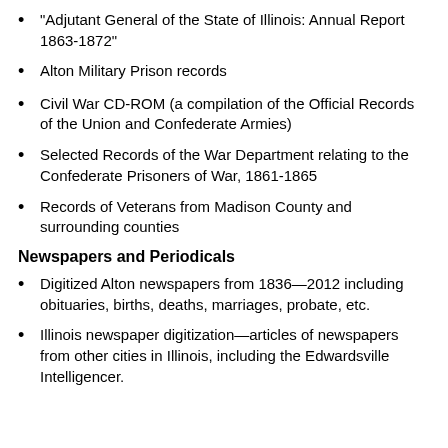“Adjutant General of the State of Illinois: Annual Report 1863-1872”
Alton Military Prison records
Civil War CD-ROM (a compilation of the Official Records of the Union and Confederate Armies)
Selected Records of the War Department relating to the Confederate Prisoners of War, 1861-1865
Records of Veterans from Madison County and surrounding counties
Newspapers and Periodicals
Digitized Alton newspapers from 1836—2012 including obituaries, births, deaths, marriages, probate, etc.
Illinois newspaper digitization—articles of newspapers from other cities in Illinois, including the Edwardsville Intelligencer.